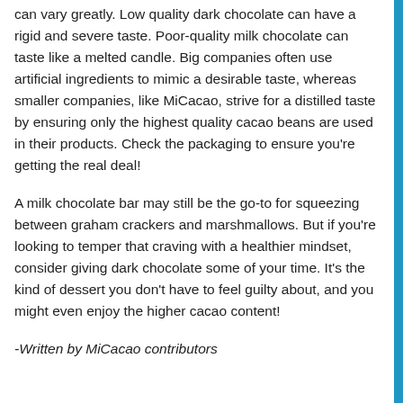can vary greatly. Low quality dark chocolate can have a rigid and severe taste. Poor-quality milk chocolate can taste like a melted candle. Big companies often use artificial ingredients to mimic a desirable taste, whereas smaller companies, like MiCacao, strive for a distilled taste by ensuring only the highest quality cacao beans are used in their products. Check the packaging to ensure you're getting the real deal!
A milk chocolate bar may still be the go-to for squeezing between graham crackers and marshmallows. But if you're looking to temper that craving with a healthier mindset, consider giving dark chocolate some of your time. It's the kind of dessert you don't have to feel guilty about, and you might even enjoy the higher cacao content!
-Written by MiCacao contributors